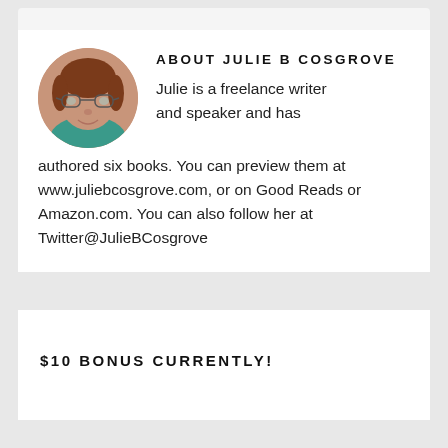ABOUT JULIE B COSGROVE
[Figure (photo): Circular portrait photo of Julie B Cosgrove, a woman with glasses and auburn/reddish-brown hair wearing a teal top.]
Julie is a freelance writer and speaker and has authored six books. You can preview them at www.juliebcosgrove.com, or on Good Reads or Amazon.com. You can also follow her at Twitter@JulieBCosgrove
$10 BONUS CURRENTLY!